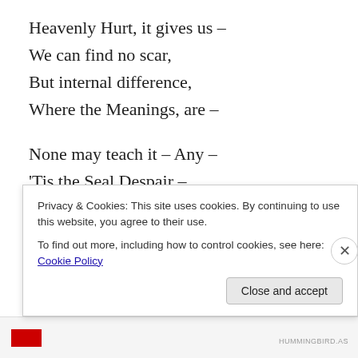Heavenly Hurt, it gives us –
We can find no scar,
But internal difference,
Where the Meanings, are –
None may teach it – Any –
'Tis the Seal Despair –
An imperial affliction
Sent us of the air –
When it comes, the Landscape listens –
Privacy & Cookies: This site uses cookies. By continuing to use this website, you agree to their use. To find out more, including how to control cookies, see here: Cookie Policy
Close and accept